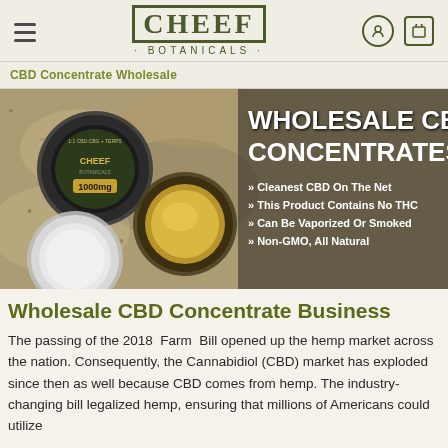CHEEF BOTANICALS — navigation header
CBD Concentrate Wholesale
[Figure (photo): Hero banner image showing CBD concentrate products (jar with 1000mg label) on a hemp background with text: WHOLESALE CBD CONCENTRATES. Bullet points: Cleanest CBD On The Net, This Product Contains No THC, Can Be Vaporized Or Smoked, Non-GMO, All Natural]
Wholesale CBD Concentrate Business
The passing of the 2018 Farm Bill opened up the hemp market across the nation. Consequently, the Cannabidiol (CBD) market has exploded since then as well because CBD comes from hemp. The industry-changing bill legalized hemp, ensuring that millions of Americans could utilize